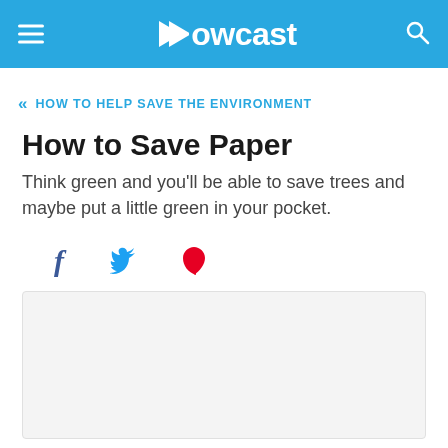Howcast
« HOW TO HELP SAVE THE ENVIRONMENT
How to Save Paper
Think green and you'll be able to save trees and maybe put a little green in your pocket.
[Figure (other): Social media share icons: Facebook, Twitter, Pinterest]
[Figure (other): Video player placeholder area with light gray background]